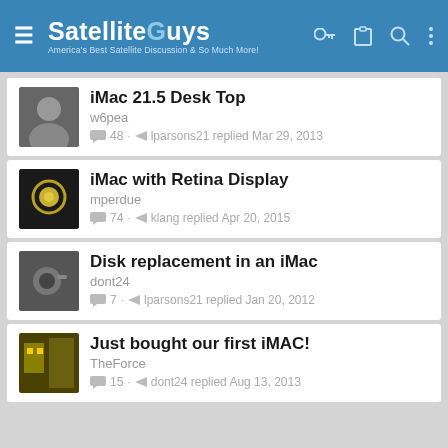SatelliteGuys — America's Best Satellite Discussion & So Much More!
iMac 21.5 Desk Top
w6pea
48 · lparsons21 replied Mar 29, 2013
iMac with Retina Display
mperdue
74 · klang replied Apr 20, 2015
Disk replacement in an iMac
dont24
7 · lparsons21 replied Jan 20, 2012
Just bought our first iMAC!
TheForce
15 · dont24 replied Aug 13, 2013